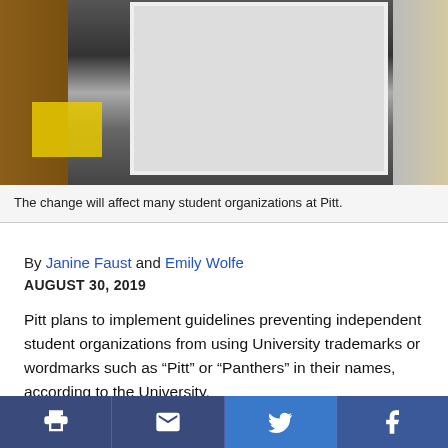[Figure (photo): Photo of a door or window at a Pitt building, with a yellow notice posted, and various items visible in the background.]
The change will affect many student organizations at Pitt.
By Janine Faust and Emily Wolfe
AUGUST 30, 2019
Pitt plans to implement guidelines preventing independent student organizations from using University trademarks or wordmarks such as “Pitt” or “Panthers” in their names, according to the University.
Under the guidelines, independent student